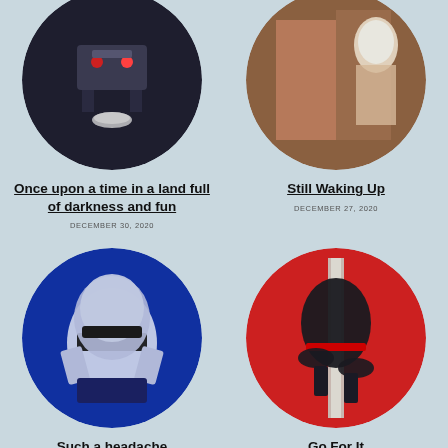[Figure (illustration): Circular cropped illustration of a robot/dark scene]
Once upon a time in a land full of darkness and fun
DECEMBER 30, 2020
[Figure (photo): Circular cropped photo of a person with a dog/cat]
Still Waking Up
DECEMBER 27, 2020
[Figure (illustration): Circular cropped illustration of a blindfolded blue-lit figure]
Such a headache
[Figure (illustration): Circular cropped illustration of a ninja on a pole with red background]
Go For It